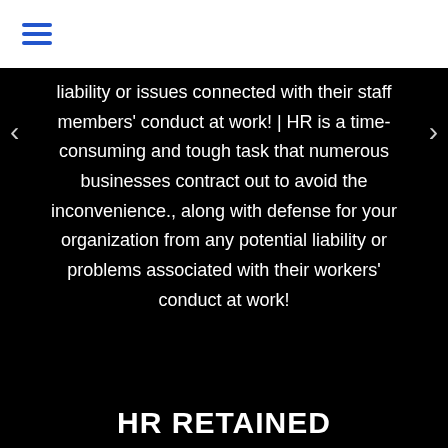☰
liability or issues connected with their staff members' conduct at work! | HR is a time-consuming and tough task that numerous businesses contract out to avoid the inconvenience., along with defense for your organization from any potential liability or problems associated with their workers' conduct at work!
HR RETAINED